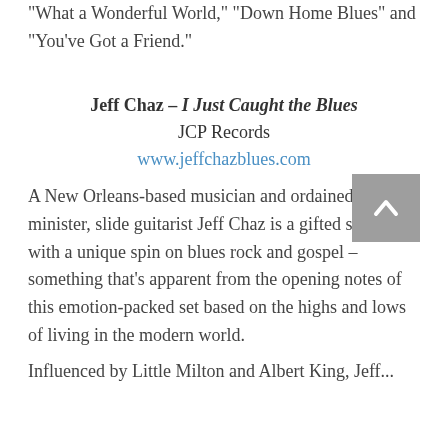“What a Wonderful World,” “Down Home Blues” and “You’ve Got a Friend.”
Jeff Chaz – I Just Caught the Blues
JCP Records
www.jeffchazblues.com
A New Orleans-based musician and ordained minister, slide guitarist Jeff Chaz is a gifted storyteller with a unique spin on blues rock and gospel – something that’s apparent from the opening notes of this emotion-packed set based on the highs and lows of living in the modern world.
Influenced by Little Milton and Albert King, Jeff...